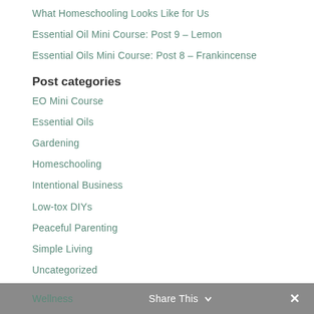What Homeschooling Looks Like for Us
Essential Oil Mini Course: Post 9 – Lemon
Essential Oils Mini Course: Post 8 – Frankincense
Post categories
EO Mini Course
Essential Oils
Gardening
Homeschooling
Intentional Business
Low-tox DIYs
Peaceful Parenting
Simple Living
Uncategorized
Wellness   Share This   ✕